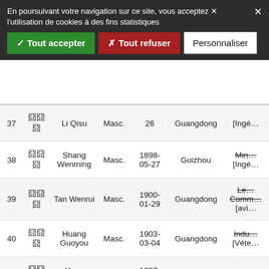En poursuivant votre navigation sur ce site, vous acceptez l'utilisation de cookies à des fins statistiques
✓ Tout accepter
✗ Tout refuser
Personnaliser
| # | chars | Name | Sex | Date | Province | Role |
| --- | --- | --- | --- | --- | --- | --- |
| 37 | 囧囧囧 | Li Qisu | Masc. | 26 | Guangdong | [Ingé… |
| 38 | 囧囧囧 | Shang Wenming | Masc. | 1898-05-27 | Guizhou | Min… [Ingé… |
| 39 | 囧囧囧 | Tan Wenrui | Masc. | 1900-01-29 | Guangdong | Left Comm… [avi… |
| 40 | 囧囧囧 | Huang Guoyou | Masc. | 1903-03-04 | Guangdong | Indu… [Véte… |
| 41 | 囧囧囧 | Yuan Jiuzhi | Masc. | 1897-06-24 | Guangdong | Scie… |
| 42 | 囧囧囧 | Li Xuhuan | Masc. | 1896-10-10 | Guangdong | Phar… |